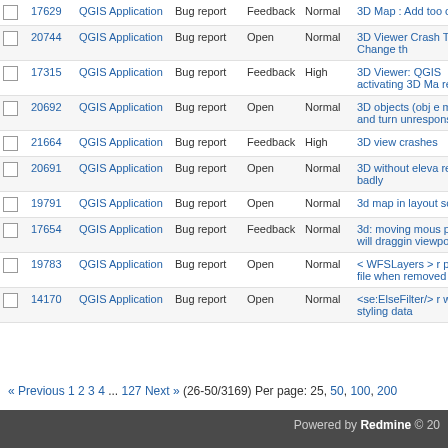|  | # | Project | Tracker | Status | Priority | Subject |
| --- | --- | --- | --- | --- | --- | --- |
|  | 17629 | QGIS Application | Bug report | Feedback | Normal | 3D Map : Add too options |
|  | 20744 | QGIS Application | Bug report | Open | Normal | 3D Viewer Crash Time I Change th |
|  | 17315 | QGIS Application | Bug report | Feedback | High | 3D Viewer: QGIS activating 3D Ma renderer |
|  | 20692 | QGIS Application | Bug report | Open | Normal | 3D objects (obj e memory and turn unresponsive |
|  | 21664 | QGIS Application | Bug report | Feedback | High | 3D view crashes |
|  | 20691 | QGIS Application | Bug report | Open | Normal | 3D without eleva renders badly |
|  | 19791 | QGIS Application | Bug report | Open | Normal | 3d map in layout screen |
|  | 17654 | QGIS Application | Bug report | Feedback | Normal | 3d: moving mous plane will draggin viewpoint |
|  | 19783 | QGIS Application | Bug report | Open | Normal | < WFSLayers > r project file when removed |
|  | 14170 | QGIS Application | Bug report | Open | Normal | <se:ElseFilter/> r when styling data |
« Previous 1 2 3 4 ... 127 Next » (26-50/3169) Per page: 25, 50, 100, 200
Powered by Redmine © 20